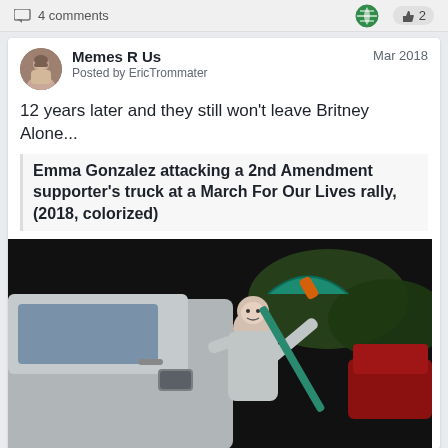4 comments   2
Memes R Us
Posted by EricTrommater
Mar 2018
12 years later and they still won't leave Britney Alone...
Emma Gonzalez attacking a 2nd Amendment supporter's truck at a March For Our Lives rally, (2018, colorized)
[Figure (photo): A person with a shaved head wearing a grey hoodie swinging a teal/green umbrella at a grey SUV at night]